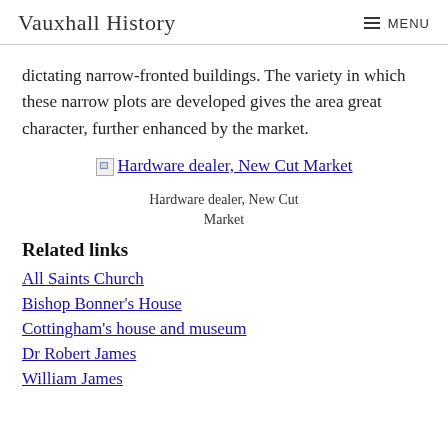Vauxhall History  MENU
dictating narrow-fronted buildings. The variety in which these narrow plots are developed gives the area great character, further enhanced by the market.
[Figure (photo): Broken image link labeled 'Hardware dealer, New Cut Market']
Hardware dealer, New Cut Market
Related links
All Saints Church
Bishop Bonner's House
Cottingham's house and museum
Dr Robert James
William James